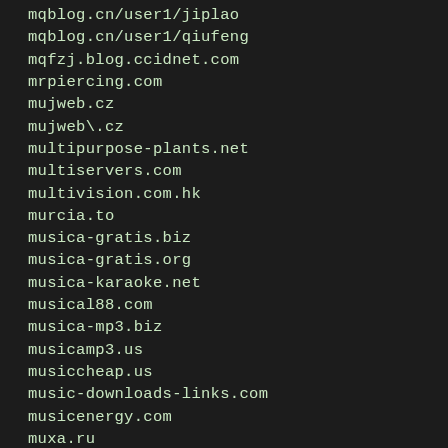mqblog.cn/user1/jiplao
mqblog.cn/user1/qiufeng
mqfzj.blog.ccidnet.com
mrpiercing.com
mujweb.cz
mujweb\.cz
multipurpose-plants.net
multiservers.com
multivision.com.hk
murcia.to
musica-gratis.biz
musica-gratis.org
musica-karaoke.net
musical88.com
musica-mp3.biz
musicamp3.us
musiccheap.us
music-downloads-links.com
musicenergy.com
muxa.ru
mxbearings.com
mxzt.com
my.nbip.net/homepage/nblulei/
my-age.net
myalbumshop\.com
myaishatale.com